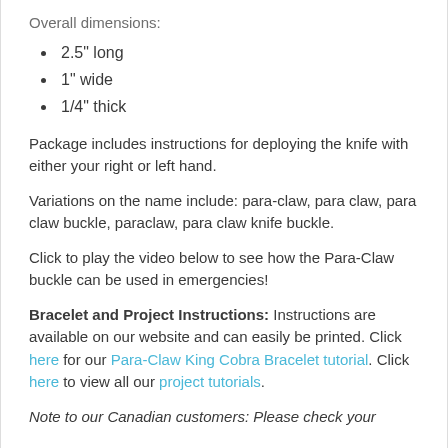Overall dimensions:
2.5" long
1" wide
1/4" thick
Package includes instructions for deploying the knife with either your right or left hand.
Variations on the name include: para-claw, para claw, para claw buckle, paraclaw, para claw knife buckle.
Click to play the video below to see how the Para-Claw buckle can be used in emergencies!
Bracelet and Project Instructions: Instructions are available on our website and can easily be printed. Click here for our Para-Claw King Cobra Bracelet tutorial. Click here to view all our project tutorials.
Note to our Canadian customers: Please check your